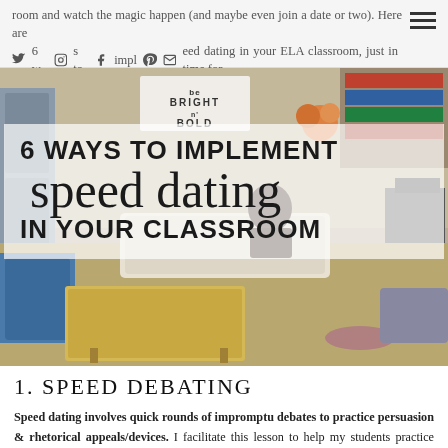room and watch the magic happen (and maybe even join a date or two). Here are 6 ways to implement speed dating in your ELA classroom, just in time for Valentine's Day:
[Figure (photo): Classroom photo showing student desks and seating, with a white banner reading 'BE BRIGHT BE BOLD' and overlaid text title '6 WAYS TO IMPLEMENT speed dating IN YOUR CLASSROOM']
1. SPEED DEBATING
Speed dating involves quick rounds of impromptu debates to practice persuasion & rhetorical appeals/devices. I facilitate this lesson to help my students practice their rhetorical skills during our unit on persuasion. To do this, I use a variety of topics, ranging from silly to serious, so that the debates spark